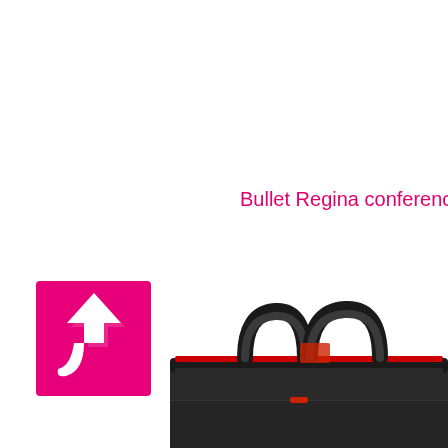Bullet Regina conference bag
[Figure (photo): Close-up photo of the top portion of a black conference bag with dual handles and red interior accents, shot against a white background.]
[Figure (logo): Magenta/pink square icon with a white upward-curving arrow, representing a back-to-top or upload button.]